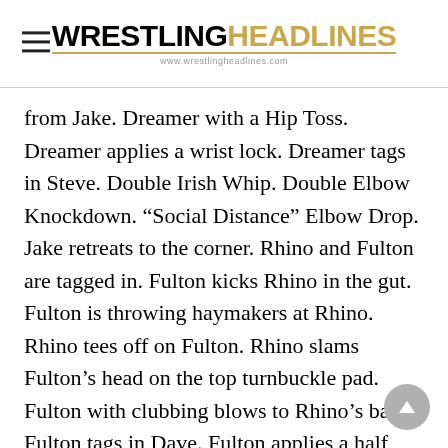WRESTLING HEADLINES — www.wrestlingheadlines.com
from Jake. Dreamer with a Hip Toss. Dreamer applies a wrist lock. Dreamer tags in Steve. Double Irish Whip. Double Elbow Knockdown. “Social Distance” Elbow Drop. Jake retreats to the corner. Rhino and Fulton are tagged in. Fulton kicks Rhino in the gut. Fulton is throwing haymakers at Rhino. Rhino tees off on Fulton. Rhino slams Fulton’s head on the top turnbuckle pad. Fulton with clubbing blows to Rhino’s back. Fulton tags in Dave. Fulton applies a half nelson lock. Dave delivers a gut punch Rhino with a straight right hand. Rhino applies a wrist lock. Rhino tags in Steve. Dave avoids The Flying Double Axe Handle Strike. Steve with a drop toe hold. Steve follows that with three corner clotheslines. Steve with a running elbow smash. Steve